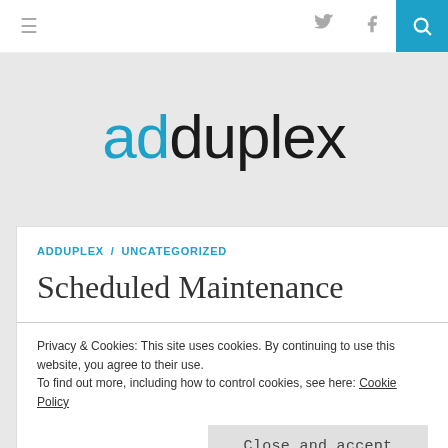≡  (twitter icon) (facebook icon) 🔍
[Figure (logo): adduplex logo with 'ad' in blue and 'duplex' in black]
ADDUPLEX / UNCATEGORIZED
Scheduled Maintenance
Privacy & Cookies: This site uses cookies. By continuing to use this website, you agree to their use.
To find out more, including how to control cookies, see here: Cookie Policy
Close and accept